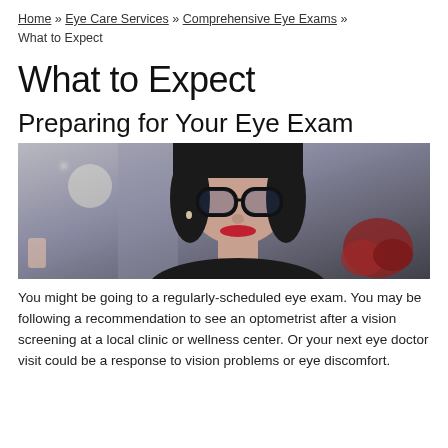Home » Eye Care Services » Comprehensive Eye Exams » What to Expect
What to Expect
Preparing for Your Eye Exam
[Figure (photo): A woman with dark hair pulled back, wearing large black-framed glasses, red lipstick, and a black top, smiling slightly, with blurred lights in the background.]
You might be going to a regularly-scheduled eye exam. You may be following a recommendation to see an optometrist after a vision screening at a local clinic or wellness center. Or your next eye doctor visit could be a response to vision problems or eye discomfort.